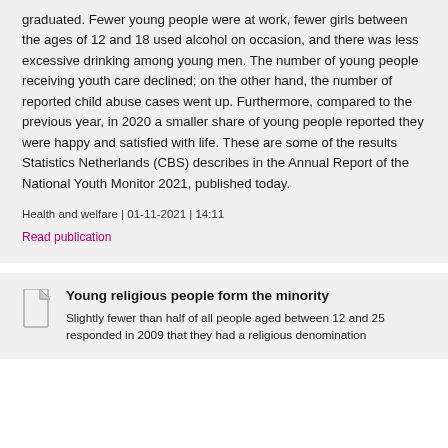graduated. Fewer young people were at work, fewer girls between the ages of 12 and 18 used alcohol on occasion, and there was less excessive drinking among young men. The number of young people receiving youth care declined; on the other hand, the number of reported child abuse cases went up. Furthermore, compared to the previous year, in 2020 a smaller share of young people reported they were happy and satisfied with life. These are some of the results Statistics Netherlands (CBS) describes in the Annual Report of the National Youth Monitor 2021, published today.
Health and welfare | 01-11-2021 | 14:11
Read publication
Young religious people form the minority
Slightly fewer than half of all people aged between 12 and 25 responded in 2009 that they had a religious denomination